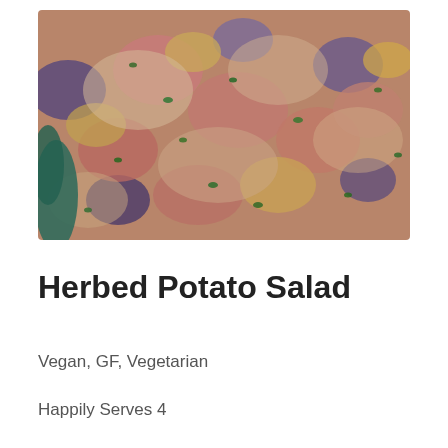[Figure (photo): Close-up photo of herbed potato salad in a bowl, showing chunked potatoes in various colors (purple, red, golden) with green herbs mixed in and a creamy dressing coating.]
Herbed Potato Salad
Vegan, GF, Vegetarian
Happily Serves 4